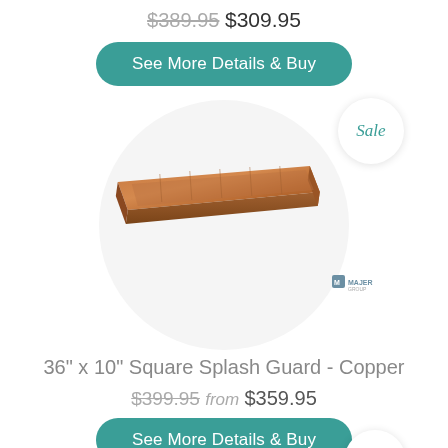$389.95 $309.95
See More Details & Buy
[Figure (photo): A long rectangular copper-colored splash guard tray on a white circular background with a Sale badge and MAJER logo]
36" x 10" Square Splash Guard - Copper
$399.95 from $359.95
See More Details & Buy
Sale